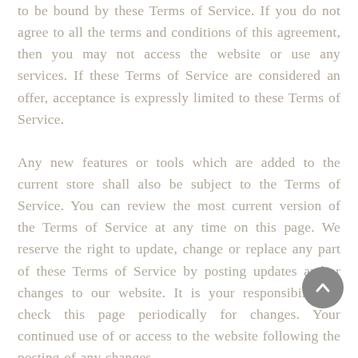to be bound by these Terms of Service. If you do not agree to all the terms and conditions of this agreement, then you may not access the website or use any services. If these Terms of Service are considered an offer, acceptance is expressly limited to these Terms of Service.

Any new features or tools which are added to the current store shall also be subject to the Terms of Service. You can review the most current version of the Terms of Service at any time on this page. We reserve the right to update, change or replace any part of these Terms of Service by posting updates and/or changes to our website. It is your responsibility to check this page periodically for changes. Your continued use of or access to the website following the posting of any changes